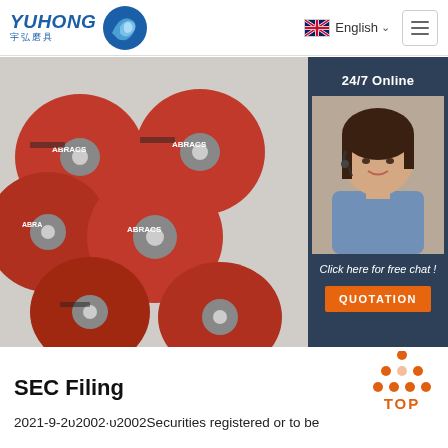YUHONG 宇弘磨具 | English | Menu
[Figure (photo): Multiple red ABRACS abrasive cutting discs piled together on a white background]
[Figure (infographic): 24/7 Online chat panel with customer service representative photo, 'Click here for free chat!' text, and QUOTATION orange button]
[Figure (infographic): TOP scroll-to-top button with orange triangle dots icon and 'TOP' text]
SEC Filing
2021-9-2υ2002·υ2002Securities registered or to be